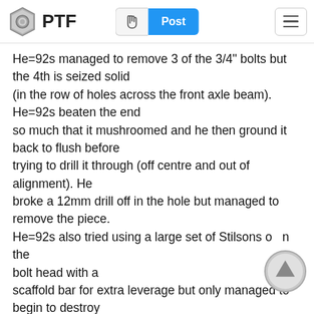PTF | Post
He=92s managed to remove 3 of the 3/4" bolts but the 4th is seized solid (in the row of holes across the front axle beam). He=92s beaten the end so much that it mushroomed and he then ground it back to flush before trying to drill it through (off centre and out of alignment). He broke a 12mm drill off in the hole but managed to remove the piece. He=92s also tried using a large set of Stilsons on the bolt head with a scaffold bar for extra leverage but only managed to begin to destroy the bolt head. At that point I was asked for advice.